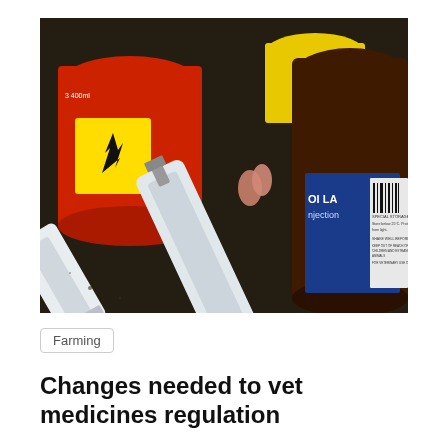[Figure (photo): A photo showing veterinary medicine supplies: large syringes and a dark glass bottle labeled 'OI LA Injection' with a blue and white label, alongside a red container with a flammability warning symbol (flame icon on yellow background). Items are arranged on a dark surface.]
Farming
Changes needed to vet medicines regulation